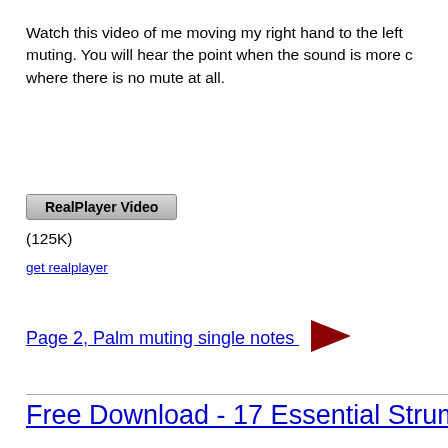Watch this video of me moving my right hand to the left muting. You will hear the point when the sound is more complete where there is no mute at all.
[Figure (screenshot): RealPlayer Video button - a grey gradient button with bold text 'RealPlayer Video']
(125K)
get realplayer
Page 2, Palm muting single notes
Free Download - 17 Essential Strum Pa